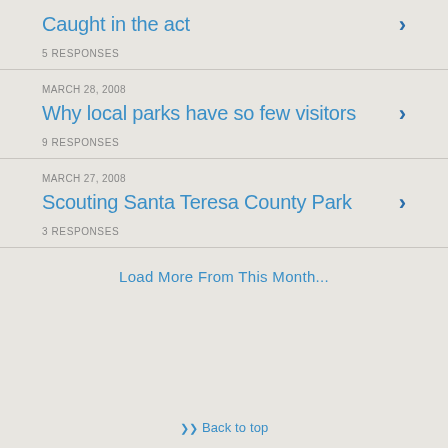Caught in the act
5 RESPONSES
MARCH 28, 2008
Why local parks have so few visitors
9 RESPONSES
MARCH 27, 2008
Scouting Santa Teresa County Park
3 RESPONSES
Load More From This Month...
Back to top